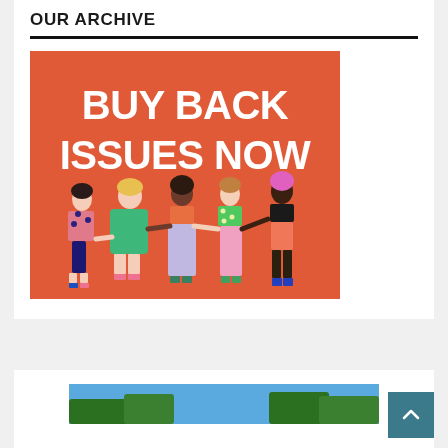OUR ARCHIVE
[Figure (illustration): Orange background promotional image with bold white text 'BUY BACK ISSUES NOW' and illustrated diverse women holding hands standing together.]
[Figure (photo): Partial bottom image showing blue sky and trees, partially visible at bottom of page.]